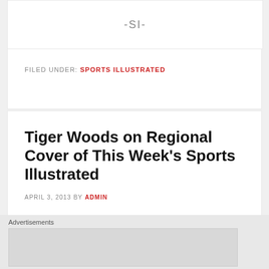-SI-
FILED UNDER: SPORTS ILLUSTRATED
Tiger Woods on Regional Cover of This Week's Sports Illustrated
APRIL 3, 2013 BY ADMIN
Advertisements